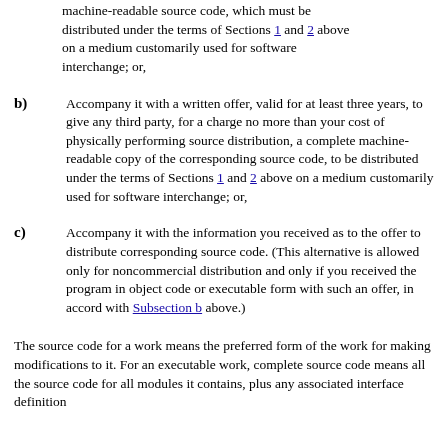machine-readable source code, which must be distributed under the terms of Sections 1 and 2 above on a medium customarily used for software interchange; or,
b) Accompany it with a written offer, valid for at least three years, to give any third party, for a charge no more than your cost of physically performing source distribution, a complete machine-readable copy of the corresponding source code, to be distributed under the terms of Sections 1 and 2 above on a medium customarily used for software interchange; or,
c) Accompany it with the information you received as to the offer to distribute corresponding source code. (This alternative is allowed only for noncommercial distribution and only if you received the program in object code or executable form with such an offer, in accord with Subsection b above.)
The source code for a work means the preferred form of the work for making modifications to it. For an executable work, complete source code means all the source code for all modules it contains, plus any associated interface definition